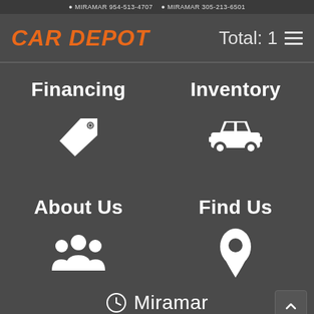Miramar 954-513-4707 · Miramar 305-213-6501
CAR DEPOT
Total: 1
Financing
Inventory
About Us
Find Us
Miramar
Mon-Sat  10:00AM - 8:00PM